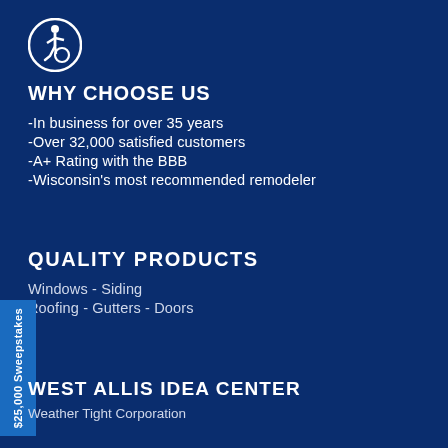[Figure (illustration): Accessibility icon — white wheelchair user symbol inside a circle on dark blue background]
WHY CHOOSE US
-In business for over 35 years
-Over 32,000 satisfied customers
-A+ Rating with the BBB
-Wisconsin's most recommended remodeler
QUALITY PRODUCTS
Windows - Siding
Roofing - Gutters - Doors
$25,000 Sweepstakes
WEST ALLIS IDEA CENTER
Weather Tight Corporation